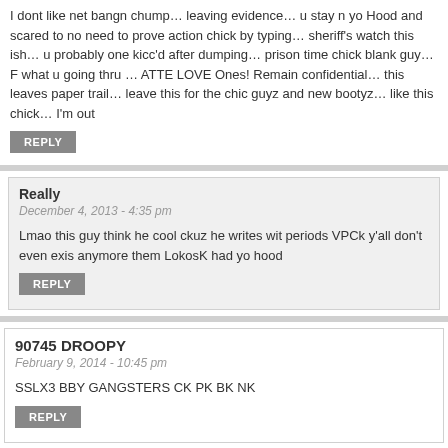I dont like net bangn chump… leaving evidence… u stay n yo Hood and scared to no need to prove action chick by typing… sheriff's watch this ish… u probably one kicd after dumping… prison time chick blank guy… F what u going thru … ATTE LOVE Ones! Remain confidential… this leaves paper trail… leave this for the chic guyz and new bootyz… like this chick… I'm out
REPLY
Really
December 4, 2013 - 4:35 pm
Lmao this guy think he cool ckuz he writes wit periods VPCk y'all don't even exis anymore them LokosK had yo hood
REPLY
90745 DROOPY
February 9, 2014 - 10:45 pm
SSLX3 BBY GANGSTERS CK PK BK NK
REPLY
J D Roberts
February 25, 2014 - 3:32 pm
WELL, My GANG BANGERS OF CARSON:
… I lived in CARSON before there were any of you gang bangers…. NOT ONE!!!!